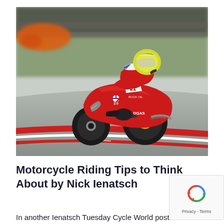[Figure (photo): A motorcycle racer on a red superbike (number 21, with Rock Oil and BULDGAS sponsorship) leaning into a corner on a racing circuit. The rider wears a yellow and white helmet and red leathers. The background is blurred showing green grass and barriers, conveying high speed motion. A red and orange racing car is visible in the upper left.]
Motorcycle Riding Tips to Think About by Nick Ienatsch
In another Ienatsch Tuesday Cycle World post...